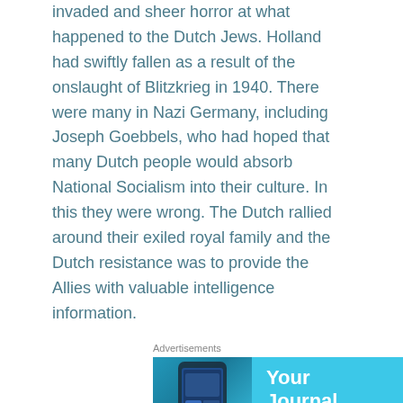invaded and sheer horror at what happened to the Dutch Jews. Holland had swiftly fallen as a result of the onslaught of Blitzkrieg in 1940. There were many in Nazi Germany, including Joseph Goebbels, who had hoped that many Dutch people would absorb National Socialism into their culture. In this they were wrong. The Dutch rallied around their exiled royal family and the Dutch resistance was to provide the Allies with valuable intelligence information.
[Figure (other): Advertisement banner for DayOne journal app with light blue background, phone image on left, text 'Your Journal for life' in center, and DayOne logo icon on right.]
Ir would simply be impossible for me to tell all the individual stories because there are literally thousands of them. I have already touched upon the stories of Hannie Schaft,Pierre Schunk, Frits Philips and Major Bosshardt in earlier articles(I'll put the links at the bottom of this one) I